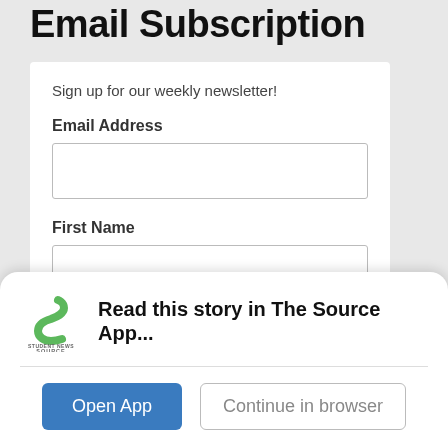Email Subscription
Sign up for our weekly newsletter!
Email Address
First Name
Last Name
[Figure (logo): Student News Source app logo — a green stylized S shape with the text STUDENT NEWS SOURCE below it]
Read this story in The Source App...
Open App
Continue in browser